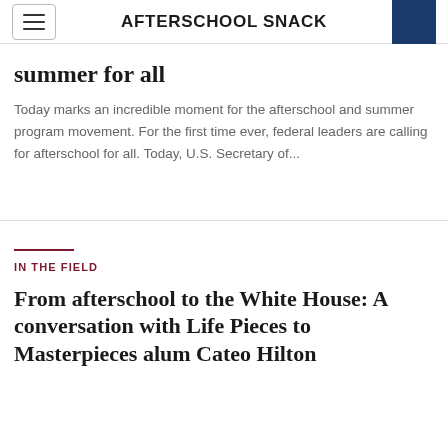AFTERSCHOOL SNACK
summer for all
Today marks an incredible moment for the afterschool and summer program movement. For the first time ever, federal leaders are calling for afterschool for all. Today, U.S. Secretary of...
IN THE FIELD
From afterschool to the White House: A conversation with Life Pieces to Masterpieces alum Cateo Hilton